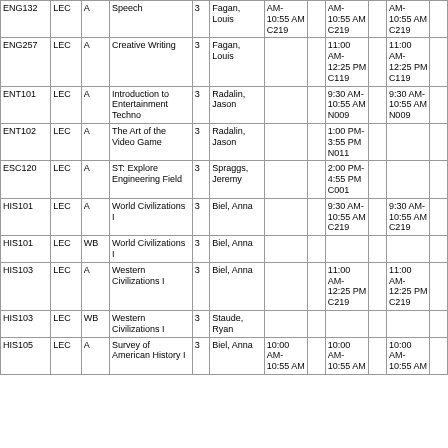| Course | Type | Sec | Title | Cr | Instructor | Mon |  | Tue |  | Wed |  |
| --- | --- | --- | --- | --- | --- | --- | --- | --- | --- | --- | --- |
| ENG132 | LEC | A | Speech | 3 | Fagan, Louis | AM-10:55 AM C219 |  | AM-10:55 AM C219 |  | AM-10:55 AM C219 |  |
| ENG257 | LEC | A | Creative Writing | 3 | Fagan, Louis |  |  | 11:00 AM-12:25 PM C119 |  | 11:00 AM-12:25 PM C119 |  |
| ENT101 | LEC | A | Introduction to Entertainment Techno | 3 | Radalin, Jason |  |  | 9:30 AM-10:55 AM N009 |  | 9:30 AM-10:55 AM N009 |  |
| ENT102 | LEC | A | The Art of the Video Game | 3 | Radalin, Jason |  |  | 1:00 PM-3:55 PM N011 |  |  |  |
| ESC120 | LEC | A | ST: Explore Engineering Field | 3 | Spraggs, Jeremy |  |  | 2:00 PM-4:55 PM C001 |  |  |  |
| HIS101 | LEC | A | World Civilizations I | 3 | Biel, Anna |  |  | 9:30 AM-10:55 AM C219 |  | 9:30 AM-10:55 AM C219 |  |
| HIS101 | LEC | WB | World Civilizations I | 3 | Biel, Anna |  |  |  |  |  |  |
| HIS103 | LEC | A | Western Civilizations I | 3 | Biel, Anna |  |  | 11:00 AM-12:25 PM C219 |  | 11:00 AM-12:25 PM C219 |  |
| HIS103 | LEC | WB | Western Civilizations I | 3 | Staude, Ryan |  |  |  |  |  |  |
| HIS105 | LEC | A | Survey of American History I | 3 | Biel, Anna | 10:00 AM-10:55 AM |  | 10:00 AM-10:55 AM |  | 10:00 AM-10:55 AM |  |